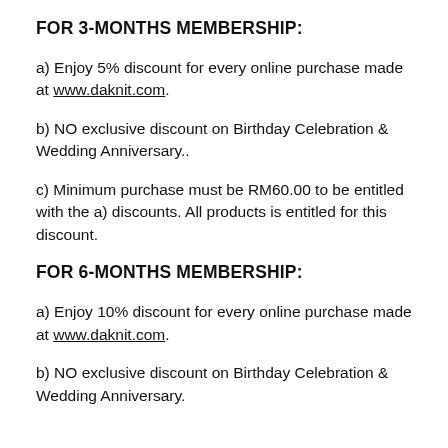FOR 3-MONTHS MEMBERSHIP:
a) Enjoy 5% discount for every online purchase made at www.daknit.com.
b) NO exclusive discount on Birthday Celebration & Wedding Anniversary..
c) Minimum purchase must be RM60.00 to be entitled with the a) discounts. All products is entitled for this discount.
FOR 6-MONTHS MEMBERSHIP:
a) Enjoy 10% discount for every online purchase made at www.daknit.com.
b) NO exclusive discount on Birthday Celebration & Wedding Anniversary.